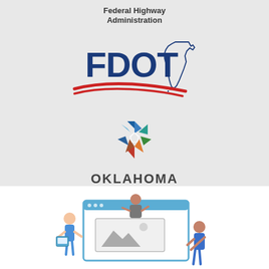[Figure (logo): Federal Highway Administration text (partially visible at top)]
[Figure (logo): FDOT (Florida Department of Transportation) logo with blue bold text FDOT, Florida state outline, and red swoosh lines]
[Figure (logo): Oklahoma Transportation logo with colorful star/arrow pinwheel icon and text OKLAHOMA Transportation]
[Figure (illustration): Cartoon illustration of people working on a website/presentation with a large browser window showing an image placeholder]